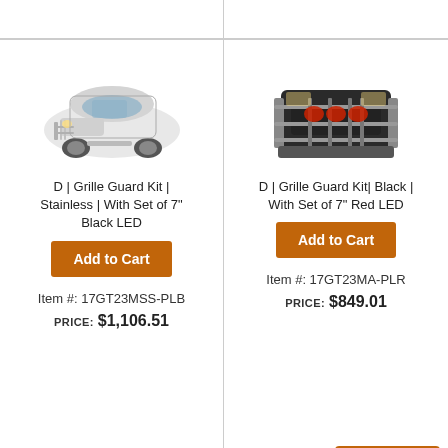[Figure (photo): Silver SUV/truck with grille guard, front three-quarter view]
D | Grille Guard Kit | Stainless | With Set of 7" Black LED
Add to Cart
Item #: 17GT23MSS-PLB
PRICE: $1,106.51
[Figure (photo): Black truck front with grille guard and red LED lights]
D | Grille Guard Kit| Black | With Set of 7" Red LED
Add to Cart
Item #: 17GT23MA-PLR
PRICE: $849.01